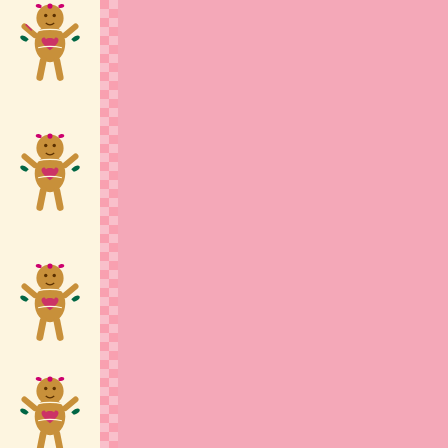[Figure (illustration): Decorative border with gingerbread man pattern on cream background with pink checks]
[Figure (photo): Doll in pink outfit displayed in a frame/box]
Click for more detail...
TPR0012
and hi feet. T painte dress halter, gauntl lame b buckle earrin sparkl pink i strapp Limite and m price i and d doll m view a Circa: Cond Size: Preca Cami, Type: fits 16 Antoir Coun Manu Co.